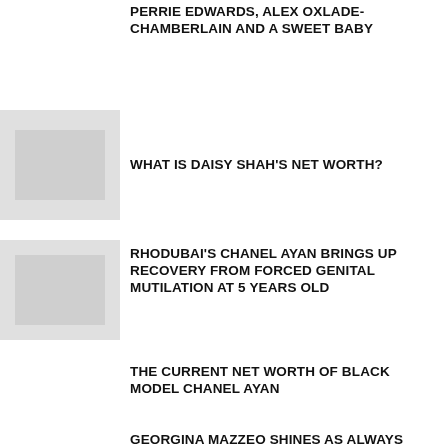PERRIE EDWARDS, ALEX OXLADE-CHAMBERLAIN AND A SWEET BABY
[Figure (photo): Thumbnail image placeholder for Daisy Shah article]
WHAT IS DAISY SHAH'S NET WORTH?
[Figure (photo): Thumbnail image placeholder for RhoDubai Chanel Ayan article]
RHODUBAI'S CHANEL AYAN BRINGS UP RECOVERY FROM FORCED GENITAL MUTILATION AT 5 YEARS OLD
THE CURRENT NET WORTH OF BLACK MODEL CHANEL AYAN
GEORGINA MAZZEO SHINES AS ALWAYS